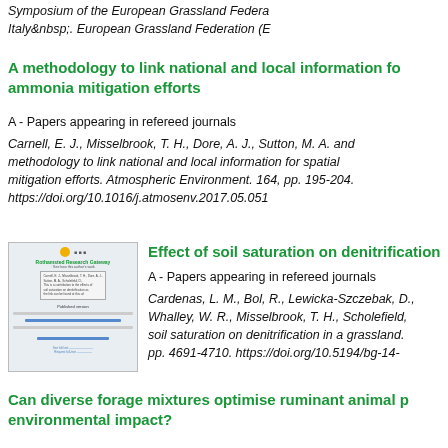Symposium of the European Grassland Federation, Italy . European Grassland Federation (E
A methodology to link national and local information for ammonia mitigation efforts
A - Papers appearing in refereed journals
Carnell, E. J., Misselbrook, T. H., Dore, A. J., Sutton, M. A. and methodology to link national and local information for spatial mitigation efforts. Atmospheric Environment. 164, pp. 195-204. https://doi.org/10.1016/j.atmosenv.2017.05.051
[Figure (screenshot): Thumbnail screenshot of a research publication page]
Effect of soil saturation on denitrification
A - Papers appearing in refereed journals
Cardenas, L. M., Bol, R., Lewicka-Szczebak, D., Whalley, W. R., Misselbrook, T. H., Scholefield, soil saturation on denitrification in a grassland. pp. 4691-4710. https://doi.org/10.5194/bg-14-
Can diverse forage mixtures optimise ruminant animal p environmental impact?